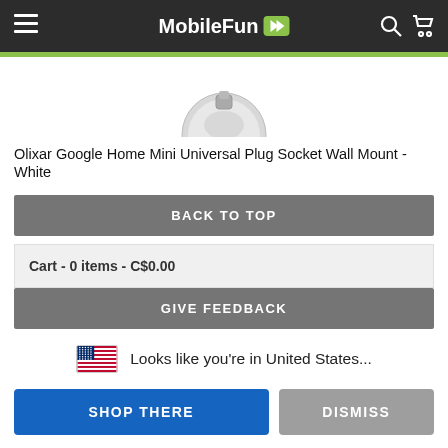MobileFun
[Figure (photo): Partial product image showing a white wall mount device (round top portion visible)]
Olixar Google Home Mini Universal Plug Socket Wall Mount - White
BACK TO TOP
Cart - 0 items - C$0.00
GIVE FEEDBACK
Looks like you're in United States...
SHOP THERE
DISMISS